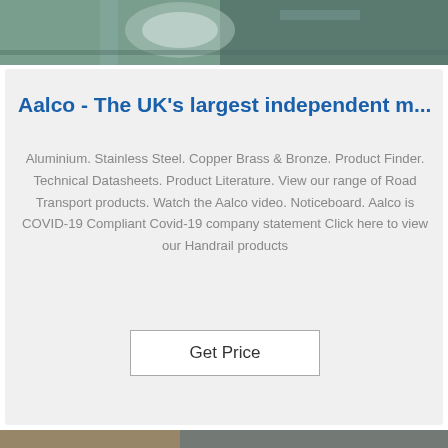[Figure (photo): Top portion of industrial machinery photo, partially visible at top of page]
Aalco - The UK's largest independent m...
Aluminium. Stainless Steel. Copper Brass & Bronze. Product Finder. Technical Datasheets. Product Literature. View our range of Road Transport products. Watch the Aalco video. Noticeboard. Aalco is COVID-19 Compliant Covid-19 company statement Click here to view our Handrail products
Get Price
[Figure (photo): Industrial warehouse interior showing stacked wooden pallets and metal sheets with a blue 'TOP' watermark logo in the lower-right corner]